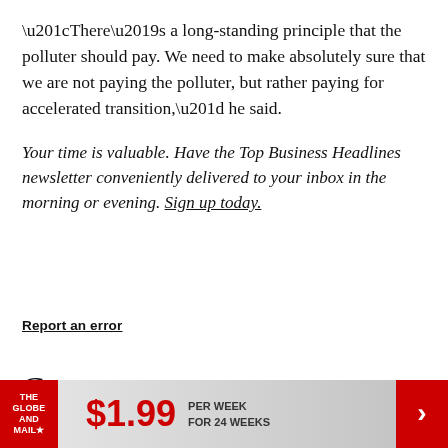“There’s a long-standing principle that the polluter should pay. We need to make absolutely sure that we are not paying the polluter, but rather paying for accelerated transition,” he said.
Your time is valuable. Have the Top Business Headlines newsletter conveniently delivered to your inbox in the morning or evening. Sign up today.
Report an error
Comment
[Figure (infographic): Globe and Mail advertisement banner: red logo on left, $1.99 price in red, 'PER WEEK FOR 24 WEEKS' text, red arrow on right]